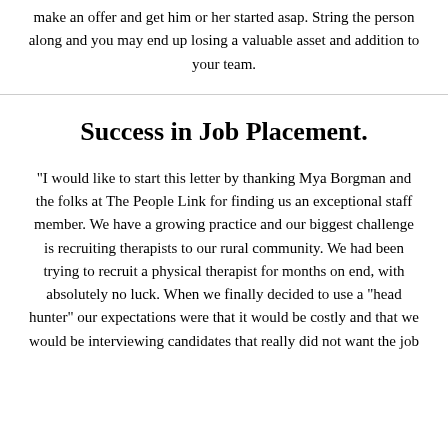make an offer and get him or her started asap. String the person along and you may end up losing a valuable asset and addition to your team.
Success in Job Placement.
"I would like to start this letter by thanking Mya Borgman and the folks at The People Link for finding us an exceptional staff member. We have a growing practice and our biggest challenge is recruiting therapists to our rural community. We had been trying to recruit a physical therapist for months on end, with absolutely no luck. When we finally decided to use a "head hunter" our expectations were that it would be costly and that we would be interviewing candidates that really did not want the job